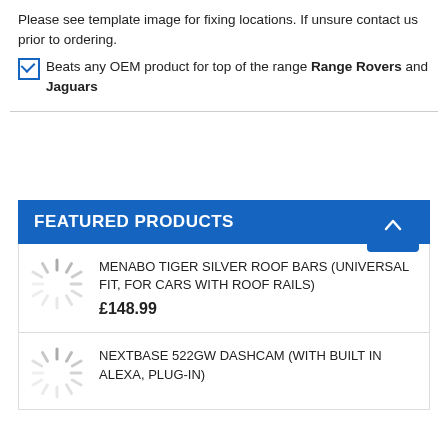Please see template image for fixing locations. If unsure contact us prior to ordering.
Beats any OEM product for top of the range Range Rovers and Jaguars
FEATURED PRODUCTS
MENABO TIGER SILVER ROOF BARS (UNIVERSAL FIT, FOR CARS WITH ROOF RAILS)
£148.99
NEXTBASE 522GW DASHCAM (WITH BUILT IN ALEXA, PLUG-IN)